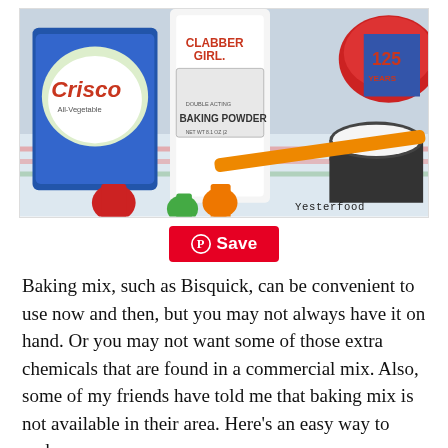[Figure (photo): Baking ingredients on a striped cloth: Crisco shortening can, Clabber Girl baking powder, measuring spoons, a dark cup of flour, and a red bowl. Watermark reads 'Yesterfood'.]
Save
Baking mix, such as Bisquick, can be convenient to use now and then, but you may not always have it on hand. Or you may not want some of those extra chemicals that are found in a commercial mix. Also, some of my friends have told me that baking mix is not available in their area. Here's an easy way to make your own.
[After I first published this, I have done a little more experimenting. In response to readers' questions, I have tried this recipe using butter instead of shortening, and it worked great. I